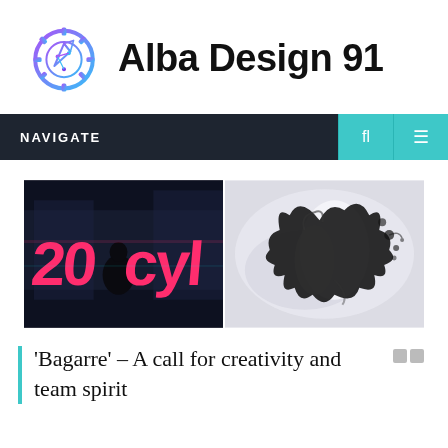[Figure (logo): Alba Design 91 logo: circular gear/tech icon in purple and blue gradient with a pen/cursor element, followed by bold text 'Alba Design 91']
NAVIGATE
[Figure (photo): Two side-by-side images: left image shows a dark scene with large pink/red stylized text '20cyl' and a silhouetted person; right image shows an abstract black ink splash or bird-like form on a light grey/white background]
'Bagarre' – A call for creativity and team spirit